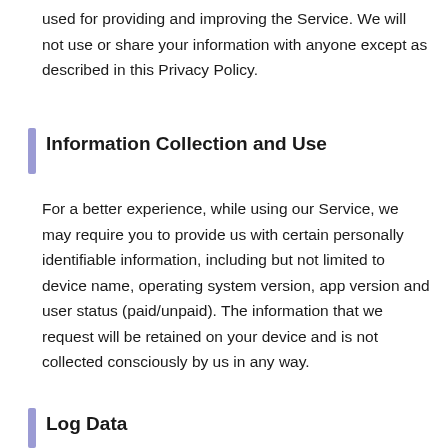used for providing and improving the Service. We will not use or share your information with anyone except as described in this Privacy Policy.
Information Collection and Use
For a better experience, while using our Service, we may require you to provide us with certain personally identifiable information, including but not limited to device name, operating system version, app version and user status (paid/unpaid). The information that we request will be retained on your device and is not collected consciously by us in any way.
Log Data